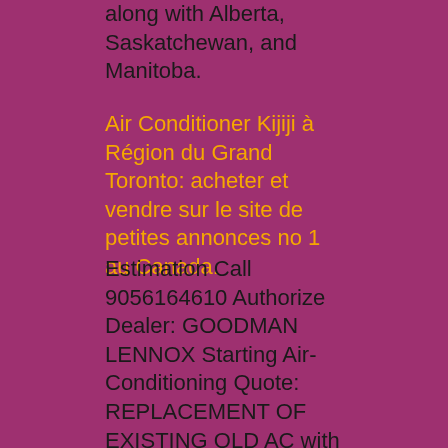along with Alberta, Saskatchewan, and Manitoba.
Air Conditioner Kijiji à Région du Grand Toronto: acheter et vendre sur le site de petites annonces no 1 au Canada.
Estimation Call 9056164610 Authorize Dealer: GOODMAN LENNOX Starting Air-Conditioning Quote: REPLACEMENT OF EXISTING OLD AC with New Air Conditioner 1.5 Ton AC $1990 2 Ton AC $2190 2.5 Ton AC $2490 3 Ton AC. Emerson 6000 Btu Window Air Conditioner BNIB NEW.
Air Canada AC.TO Stock Price, News, Quote History - Yahoo Finance.
Air Canada TSX AC: is a major air travel play that may already